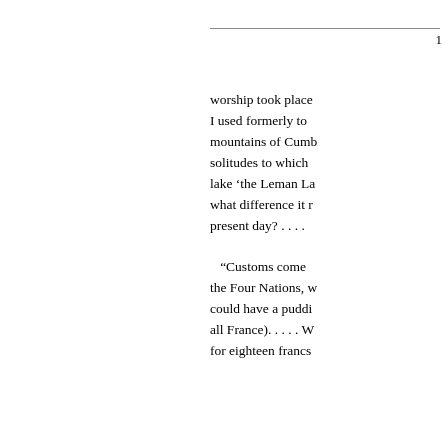1
worship took place I used formerly to mountains of Cumb solitudes to which lake ‘the Leman La what difference it r present day? . . . . “Customs come the Four Nations, w could have a puddi all France). . . . . W for eighteen francs